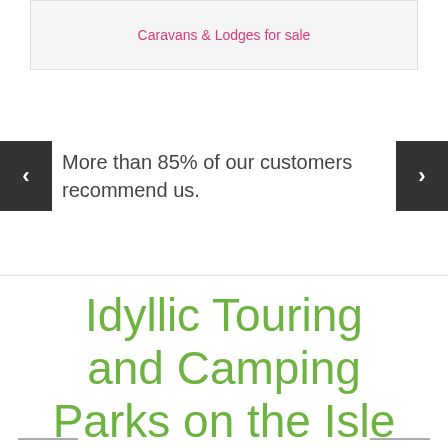Caravans & Lodges for sale
More than 85% of our customers recommend us.
Idyllic Touring and Camping Parks on the Isle